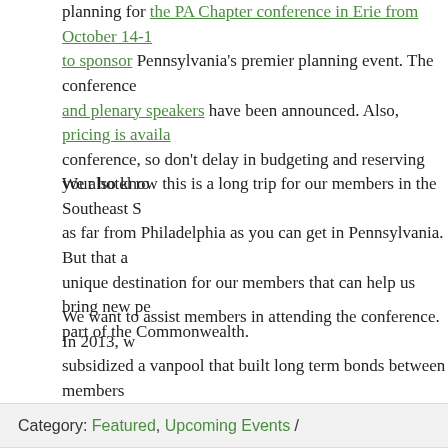planning for the PA Chapter conference in Erie from October 14-16 to sponsor Pennsylvania's premier planning event. The conference and plenary speakers have been announced. Also, pricing is available conference, so don't delay in budgeting and reserving your hotel ro...
We also know this is a long trip for our members in the Southeast S as far from Philadelphia as you can get in Pennsylvania. But that a unique destination for our members that can help us bring new pe part of the Commonwealth.
We want to assist members in attending the conference. In 2013, w subsidized a vanpool that built long term bonds between members website. In 2017, we used an online sharing app to encourage car looking to continue that effort for this conference, so please sign up carpool.
How can we best help our members get to Erie in 2018? If you hav like to help plan the trip, please email events@apapase.org.
Category: Featured, Upcoming Events /